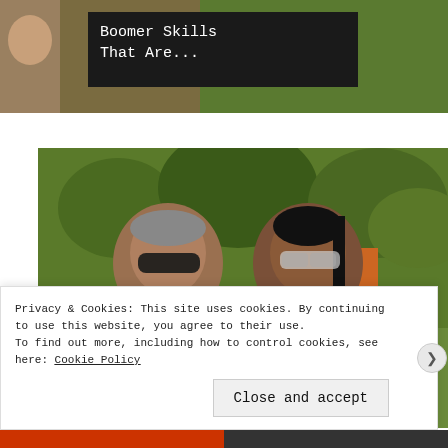[Figure (screenshot): Partially visible thumbnail with dark overlay containing text 'Boomer Skills That Are...']
Boomer Skills
That Are...
[Figure (photo): Photo of two people wearing sunglasses outdoors with green trees in background]
[Pics] Obama Turns 61 & This Is The…
Privacy & Cookies: This site uses cookies. By continuing to use this website, you agree to their use.
To find out more, including how to control cookies, see here: Cookie Policy
Close and accept